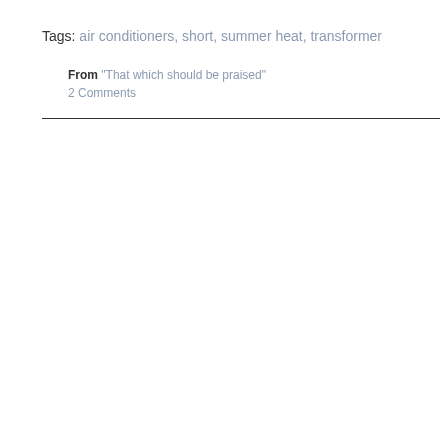Tags: air conditioners, short, summer heat, transformer
From "That which should be praised"
2 Comments